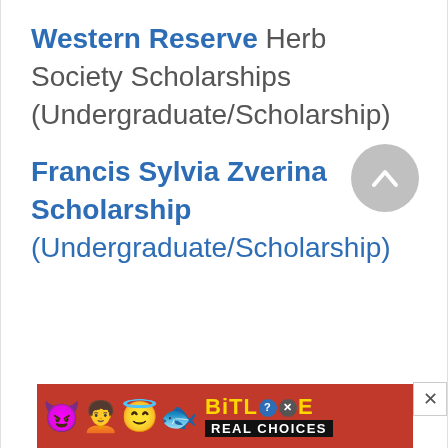Western Reserve Herb Society Scholarships (Undergraduate/Scholarship)
Francis Sylvia Zverina Scholarship (Undergraduate/Scholarship)
[Figure (other): Gray circular scroll-to-top button with upward chevron icon, and a close (X) button]
[Figure (other): BitLife advertisement banner with colorful emojis on red background, showing BitLife logo and 'Real Choices' tagline]